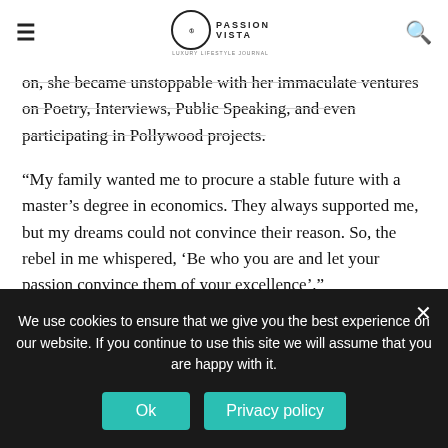≡  PASSION VISTA  🔍
on, she became unstoppable with her immaculate ventures on Poetry, Interviews, Public Speaking, and even participating in Pollywood projects.
“My family wanted me to procure a stable future with a master’s degree in economics. They always supported me, but my dreams could not convince their reason. So, the rebel in me whispered, ‘Be who you are and let your passion convince them of your excellence’.”
Succumbing to her resilient attitude, she began to exude absolute brilliance. Being a poet, she brimmed with joy on her interview with Gulzar Sahab. In addition, she also played the role of RJ at the
We use cookies to ensure that we give you the best experience on our website. If you continue to use this site we will assume that you are happy with it.
Ok
Privacy policy